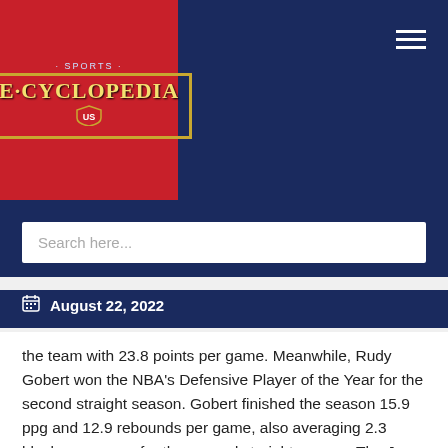[Figure (logo): Sports E-Cyclopedia logo on red background with gold badge border and shield emblem]
Search here...
August 22, 2022
the team with 23.8 points per game. Meanwhile, Rudy Gobert won the NBA's Defensive Player of the Year for the second straight season. Gobert finished the season 15.9 ppg and 12.9 rebounds per game, also averaging 2.3 blocks per game for the second straight season. The Jazz battled the Denver Nuggets and Portland Trailblazers for first place in the Northwest Division all season, finishing the season with a record of 50-32.
2019 Playoffs: